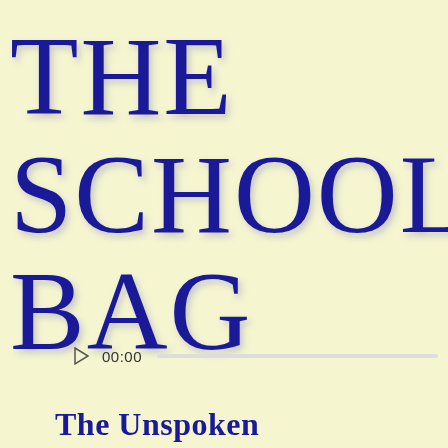THE SCHOOL BAG
[Figure (other): Audio player control bar with play button triangle, time display showing 00:00, and a progress/seek bar]
The Unspoken